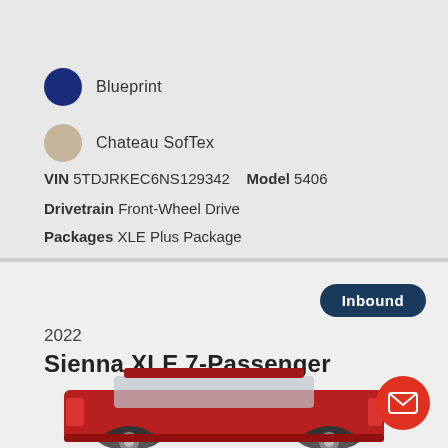Blueprint
Chateau SofTex
VIN 5TDJRKEC6NS129342   Model 5406
Drivetrain Front-Wheel Drive
Packages XLE Plus Package
Inbound
2022
Sienna XLE 7-Passenger
[Figure (photo): Partial rear view of a red Toyota Sienna minivan]